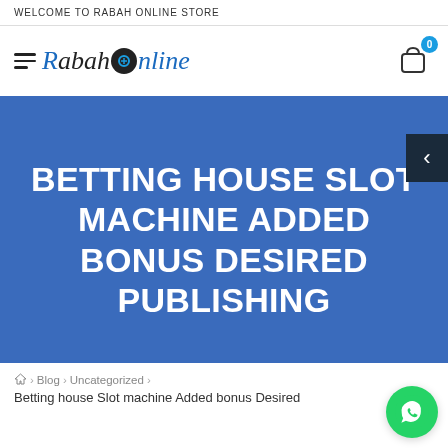WELCOME TO RABAH ONLINE STORE
[Figure (logo): Rabah Online store logo with hamburger menu icon on the left and shopping cart with badge '0' on the right]
BETTING HOUSE SLOT MACHINE ADDED BONUS DESIRED PUBLISHING
🏠 > Blog > Uncategorized >
Betting house Slot machine Added bonus Desired